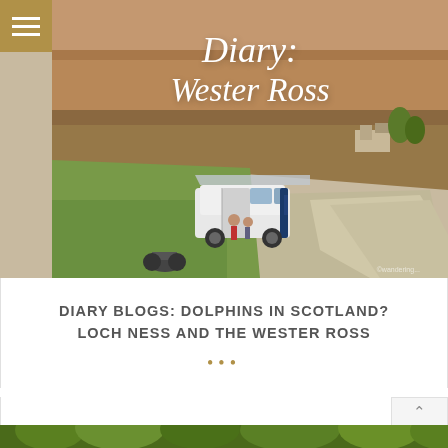[Figure (photo): Aerial view of a campervan/minivan parked on a gravel area surrounded by green fields and heather-covered hills in Wester Ross, Scotland. Two people visible near the open van door. The landscape shows Scottish highlands terrain.]
Diary: Wester Ross
DIARY BLOGS: DOLPHINS IN SCOTLAND? LOCH NESS AND THE WESTER ROSS
[Figure (photo): Bottom portion of a photo showing green foliage and trees, partially visible at the bottom of the page.]